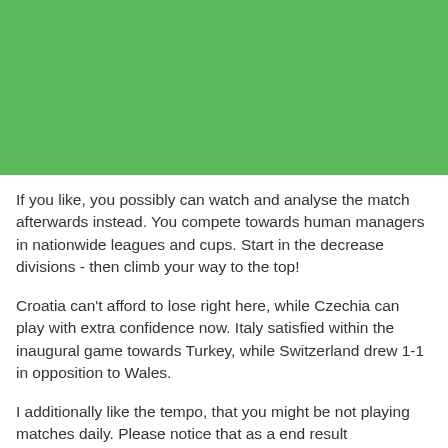If you like, you possibly can watch and analyse the match afterwards instead. You compete towards human managers in nationwide leagues and cups. Start in the decrease divisions - then climb your way to the top!
Croatia can't afford to lose right here, while Czechia can play with extra confidence now. Italy satisfied within the inaugural game towards Turkey, while Switzerland drew 1-1 in opposition to Wales.
I additionally like the tempo, that you might be not playing matches daily. Please notice that as a end result https://www.freeearningtips.com/8863/vegus1168-discover-more of this league has been just lately added, all signups shall be checked manually by our Gamemasters and will therefore take a while. You need to be 13 years or older to play this game. You can see these charges if any inside our responsible betting terms and conditions. In this duel between neighbours, each nations won 1 game each in latest times. Poland